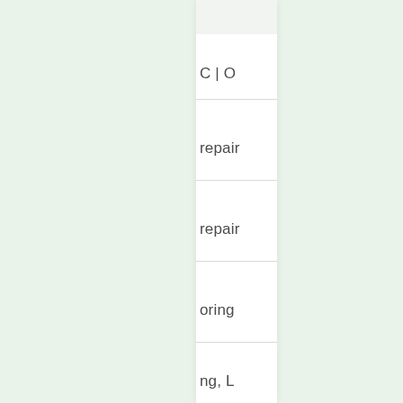C | O
repair
repair
oring
ng, L